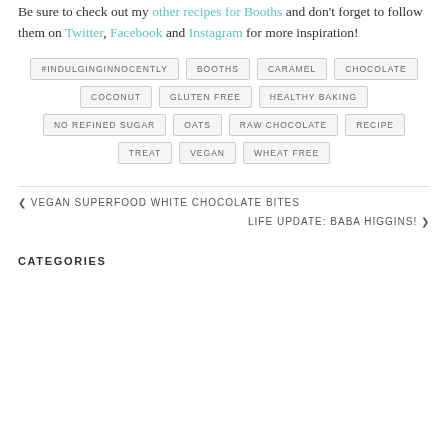Be sure to check out my other recipes for Booths and don't forget to follow them on Twitter, Facebook and Instagram for more inspiration!
#INDULGINGINNOCENTLY
BOOTHS
CARAMEL
CHOCOLATE
COCONUT
GLUTEN FREE
HEALTHY BAKING
NO REFINED SUGAR
OATS
RAW CHOCOLATE
RECIPE
TREAT
VEGAN
WHEAT FREE
◀ VEGAN SUPERFOOD WHITE CHOCOLATE BITES
LIFE UPDATE: BABA HIGGINS! ▶
CATEGORIES